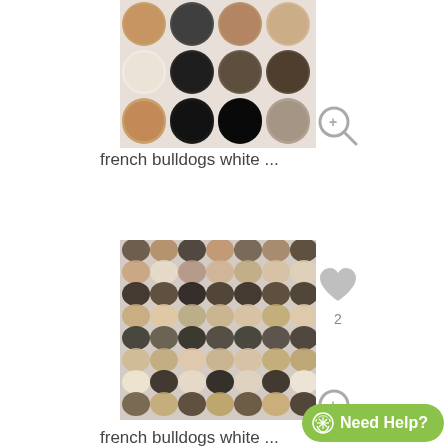[Figure (photo): Grid of French bulldog faces in various colors on white background - partially cut off at top]
french bulldogs white ...
[Figure (photo): Dense grid pattern of many French bulldog faces in various colors filling the entire square image]
french bulldogs white ...